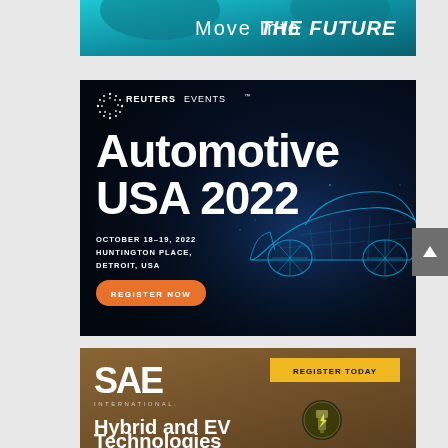[Figure (illustration): Teal/cyan banner advertisement with text 'Move Into THE FUTURE' in white, with automotive imagery in background]
[Figure (illustration): Reuters Events advertisement on dark navy background featuring 'Automotive USA 2022' event. Shows Reuters Events logo, event title in large white bold text, date 'OCTOBER 18-19, 2022', location 'HUNTINGTON PLACE, DETROIT, USA', orange 'REGISTER NOW' button, and blue wireframe car graphic on the right]
[Figure (illustration): SAE International advertisement on brown/bronze background. Shows SAE International logo on left, yellow 'REGISTER TODAY' button on right, and 'Hybrid and EV Technologies' text at bottom with EV charging icon]